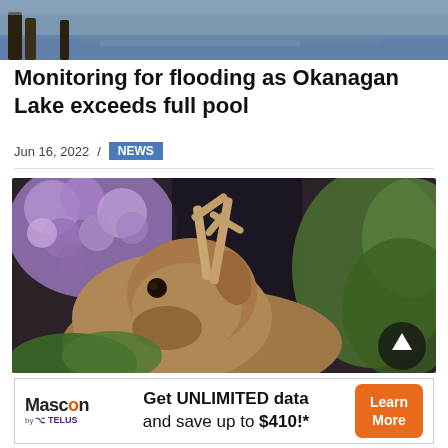[Figure (photo): Flooded area with water in foreground and trees/road visible]
Monitoring for flooding as Okanagan Lake exceeds full pool
Jun 16, 2022 / NEWS
[Figure (photo): A deer with antlers foraging near lilac flowers and green garden foliage]
[Figure (other): Mascon by TELUS advertisement: Get UNLIMITED data and save up to $410!* Learn More]